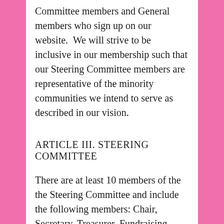Committee members and General members who sign up on our website.  We will strive to be inclusive in our membership such that our Steering Committee members are representative of the minority communities we intend to serve as described in our vision.
ARTICLE III. STEERING COMMITTEE
There are at least 10 members of the the Steering Committee and include the following members: Chair, Secretary, Treasurer, Fundraising Chair, Publicity Chair, Meetings and Membership Chair, Immigrant and Minority Rights Chair,